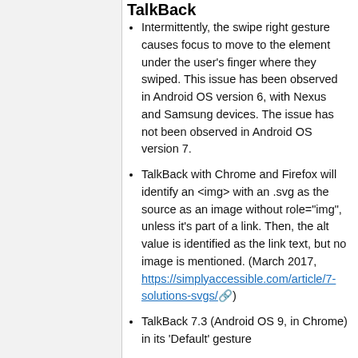TalkBack
Intermittently, the swipe right gesture causes focus to move to the element under the user's finger where they swiped. This issue has been observed in Android OS version 6, with Nexus and Samsung devices. The issue has not been observed in Android OS version 7.
TalkBack with Chrome and Firefox will identify an <img> with an .svg as the source as an image without role="img", unless it's part of a link. Then, the alt value is identified as the link text, but no image is mentioned. (March 2017, https://simplyaccessible.com/article/7-solutions-svgs/)
TalkBack 7.3 (Android OS 9, in Chrome) in its 'Default' gesture